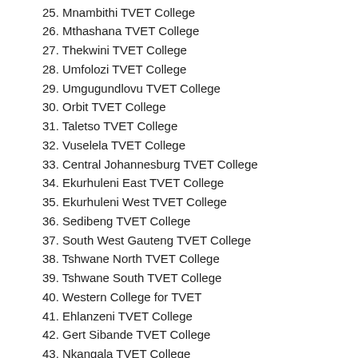25. Mnambithi TVET College
26. Mthashana TVET College
27. Thekwini TVET College
28. Umfolozi TVET College
29. Umgugundlovu TVET College
30. Orbit TVET College
31. Taletso TVET College
32. Vuselela TVET College
33. Central Johannesburg TVET College
34. Ekurhuleni East TVET College
35. Ekurhuleni West TVET College
36. Sedibeng TVET College
37. South West Gauteng TVET College
38. Tshwane North TVET College
39. Tshwane South TVET College
40. Western College for TVET
41. Ehlanzeni TVET College
42. Gert Sibande TVET College
43. Nkangala TVET College